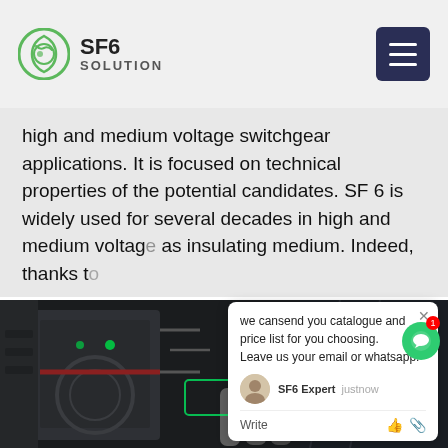SF6 SOLUTION
high and medium voltage switchgear applications. It is focused on technical properties of the potential candidates. SF 6 is widely used for several decades in high and medium voltag... as insulating medium. Indeed, thanks t...
[Figure (photo): Nighttime photograph of high voltage switchgear equipment with a worker in reflective safety gear]
we cansend you catalogue and price list for you choosing. Leave us your email or whatsapp. SF6 Expert  justnow Write